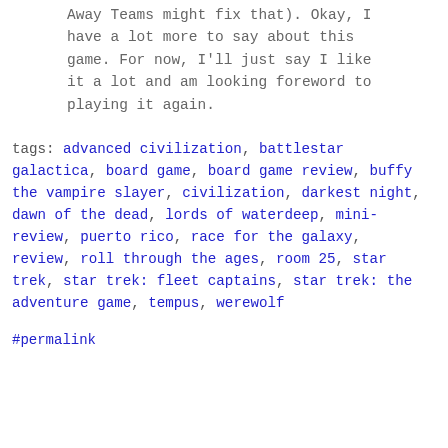Away Teams might fix that). Okay, I have a lot more to say about this game. For now, I'll just say I like it a lot and am looking foreword to playing it again.
tags: advanced civilization, battlestar galactica, board game, board game review, buffy the vampire slayer, civilization, darkest night, dawn of the dead, lords of waterdeep, mini-review, puerto rico, race for the galaxy, review, roll through the ages, room 25, star trek, star trek: fleet captains, star trek: the adventure game, tempus, werewolf
#permalink